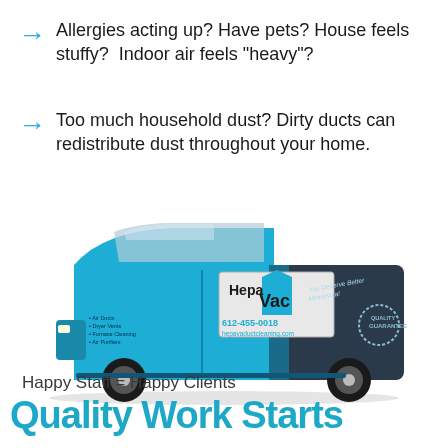Allergies acting up? Have pets? House feels stuffy?  Indoor air feels "heavy"?
Too much household dust? Dirty ducts can redistribute dust throughout your home.
[Figure (photo): HepaVac duct cleaning service van, blue and dark, with logo, phone number 612-455-0018, and website hepavaductcleaning.com]
Happy Staff = Happy Clients
Quality Work Starts